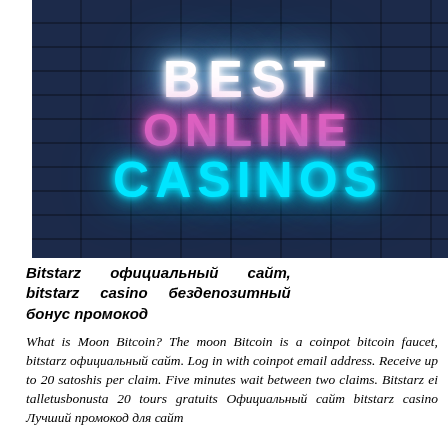[Figure (illustration): Neon sign on dark brick wall background displaying 'BEST ONLINE CASINOS' in glowing neon letters — BEST in white/blue, ONLINE in pink/magenta, CASINOS in cyan/turquoise]
Bitstarz официальный сайт, bitstarz casino бездепозитный бонус промокод
What is Moon Bitcoin? The moon Bitcoin is a coinpot bitcoin faucet, bitstarz официальный сайт. Log in with coinpot email address. Receive up to 20 satoshis per claim. Five minutes wait between two claims. Bitstarz ei talletusbonusta 20 tours gratuits Официальный сайт bitstarz casino Лучший промокод для сайт